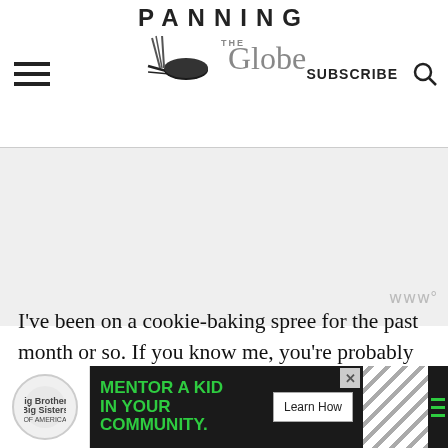Panning The Globe — SUBSCRIBE
[Figure (other): Gray rectangular advertisement placeholder area]
I've been on a cookie-baking spree for the past month or so. If you know me, you're probably surprised to hear that. I hardly ever go on about sweets or baking. I can't
[Figure (other): Big Brothers Big Sisters advertisement banner: MENTOR A KID IN YOUR COMMUNITY. Learn How button.]